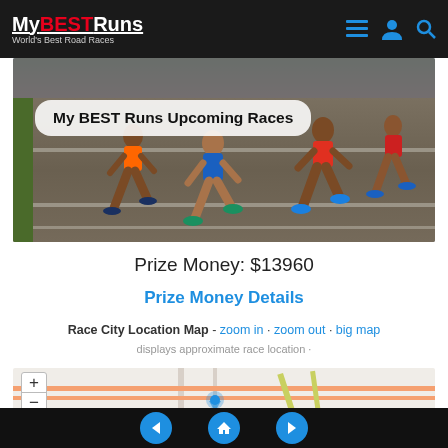My BEST Runs - World's Best Road Races
[Figure (photo): Banner photo of runners' legs on a road race with overlay text 'My BEST Runs Upcoming Races']
Prize Money: $13960
Prize Money Details
Race City Location Map - zoom in · zoom out · big map
displays approximate race location ·
[Figure (map): Interactive map showing approximate race city location with zoom in/out controls]
Navigation: back, home, forward